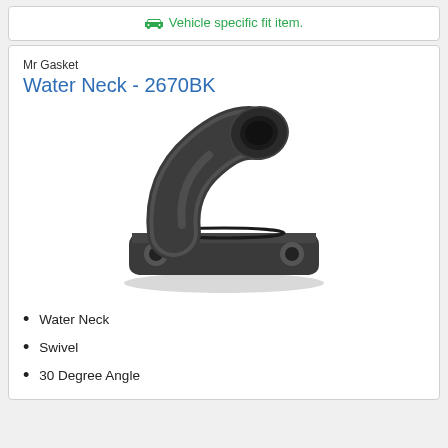Vehicle specific fit item.
Mr Gasket
Water Neck - 2670BK
[Figure (photo): Black water neck fitting with 30 degree swivel angle, showing the elbow pipe and flat mounting flange with two bolt holes]
Water Neck
Swivel
30 Degree Angle